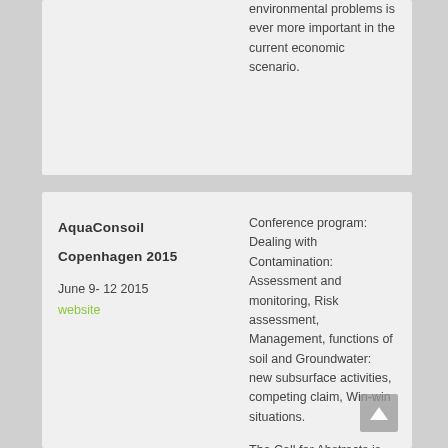environmental problems is ever more important in the current economic scenario.
AquaConsoil

Copenhagen 2015

June 9- 12 2015
website
Conference program: Dealing with Contamination: Assessment and monitoring, Risk assessment, Management, functions of soil and Groundwater: new subsurface activities, competing claim, Win-win situations.
The Call for Abstracts is now open. Deadline for abstract submission has just been extended to 15 December 2014. Please find the Call for Abstracts and feel free to disseminate the Call within your networks.